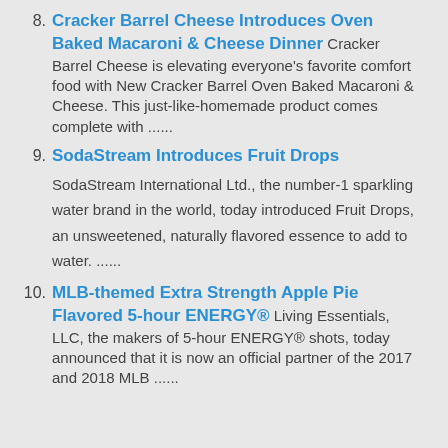8. Cracker Barrel Cheese Introduces Oven Baked Macaroni & Cheese Dinner Cracker Barrel Cheese is elevating everyone's favorite comfort food with New Cracker Barrel Oven Baked Macaroni & Cheese. This just-like-homemade product comes complete with ......
9. SodaStream Introduces Fruit Drops SodaStream International Ltd., the number-1 sparkling water brand in the world, today introduced Fruit Drops, an unsweetened, naturally flavored essence to add to water. ......
10. MLB-themed Extra Strength Apple Pie Flavored 5-hour ENERGY® Living Essentials, LLC, the makers of 5-hour ENERGY® shots, today announced that it is now an official partner of the 2017 and 2018 MLB ......